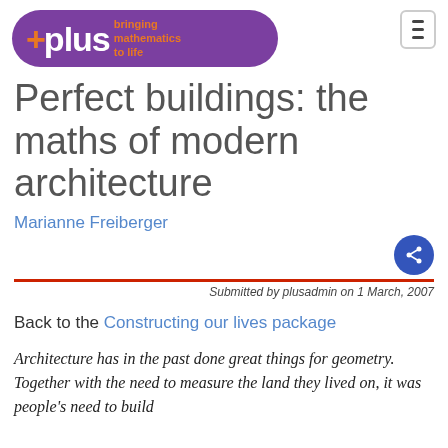[Figure (logo): Plus magazine logo — purple pill shape with white 'plus' text and orange '+' cross, with orange tagline 'bringing mathematics to life']
Perfect buildings: the maths of modern architecture
Marianne Freiberger
Submitted by plusadmin on 1 March, 2007
Back to the Constructing our lives package
Architecture has in the past done great things for geometry. Together with the need to measure the land they lived on, it was people's need to build